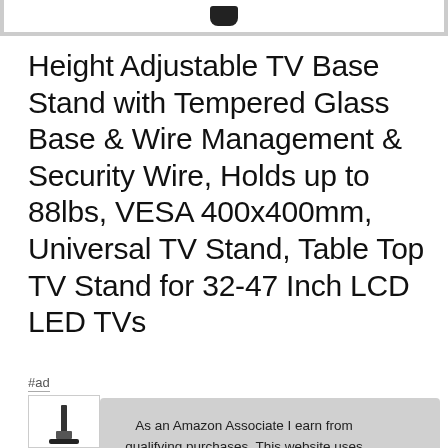[Figure (photo): Top portion of a TV base stand product photo, showing a dark knob/pole at the top against a white background, partially cropped.]
Height Adjustable TV Base Stand with Tempered Glass Base & Wire Management & Security Wire, Holds up to 88lbs, VESA 400x400mm, Universal TV Stand, Table Top TV Stand for 32-47 Inch LCD LED TVs
#ad
As an Amazon Associate I earn from qualifying purchases. This website uses the only necessary cookies to ensure you get the best experience on our website. More information